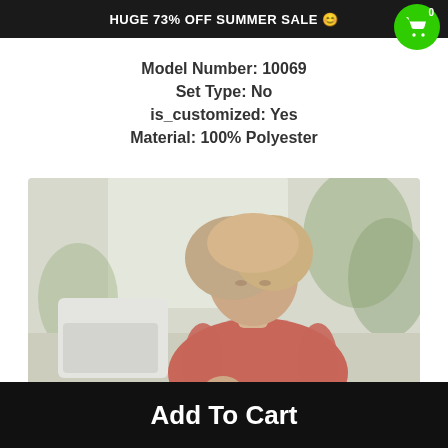HUGE 73% OFF SUMMER SALE 😊
Model Number: 10069
Set Type: No
is_customized: Yes
Material: 100% Polyester
[Figure (photo): Woman in red top sewing or working with fabric at a white sewing machine, with green plants in background]
Add To Cart